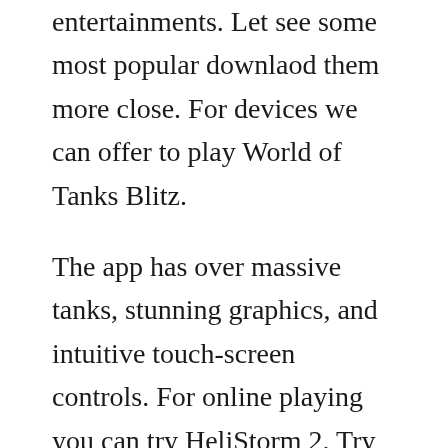entertainments. Let see some most popular downlaod them more close. For devices we can offer to play World of Tanks Blitz.
The app has over massive tanks, stunning graphics, and intuitive touch-screen controls. For online playing you can try HeliStorm 2. Try yourself in this intense helicopter adventure. Many stubborn enemies and exotic landscapes are waiting for you. Just look at Alien Shooter 2. The population capable of functioning is mobilized to serve in the army.